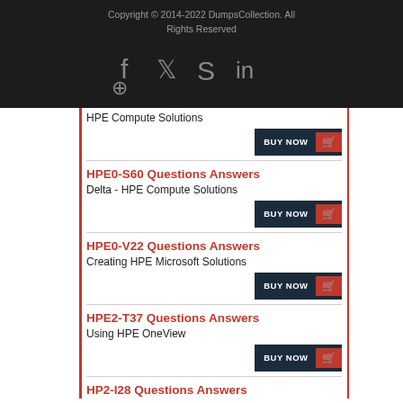Copyright © 2014-2022 DumpsCollection. All Rights Reserved
[Figure (illustration): Social media icons: Facebook, Twitter, Skype, LinkedIn, RSS feed on dark background]
HPE Compute Solutions
BUY NOW
HPE0-S60 Questions Answers
Delta - HPE Compute Solutions
BUY NOW
HPE0-V22 Questions Answers
Creating HPE Microsoft Solutions
BUY NOW
HPE2-T37 Questions Answers
Using HPE OneView
BUY NOW
HP2-I28 Questions Answers